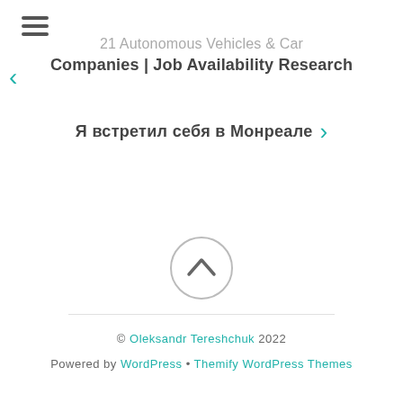[Figure (other): Hamburger menu icon (three horizontal lines)]
21 Autonomous Vehicles & Car Companies | Job Availability Research
Я встретил себя в Монреале
[Figure (other): Circular scroll-to-top button with upward chevron arrow]
© Oleksandr Tereshchuk 2022
Powered by WordPress • Themify WordPress Themes